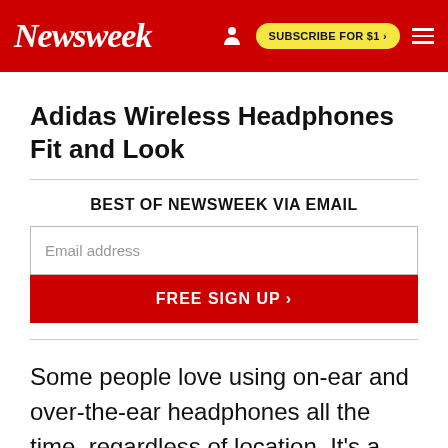Newsweek | SUBSCRIBE FOR $1 >
Adidas Wireless Headphones Fit and Look
BEST OF NEWSWEEK VIA EMAIL
Email address
FREE SIGN UP >
Some people love using on-ear and over-the-ear headphones all the time, regardless of location. It's a common sight to see athletes in